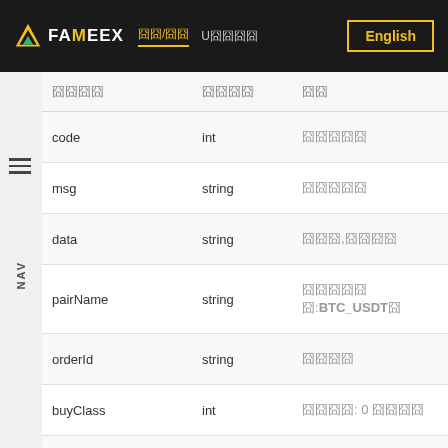FAMEEX  囧囧/囧囧  U囧囧囧囧  English
| 囧囧囧囧 | 囧囧囧囧 | 囧囧 |
| --- | --- | --- |
| code | int | 囧囧囧囧囧 |
| msg | string | 囧囧囧囧囧 |
| data | string | 囧囧囧,囧囧囧囧 |
| pairName | string | 囧囧囧囧囧囧:BTC_USDT囧 |
| orderId | string | 囧囧囧囧 |
| buyClass | int | 囧囧囧囧: 0 囧囧囧囧 |
| buyType | int | 囧囧囧囧: 0 囧, 1 囧 |
| price | string | 囧囧囧囧 |